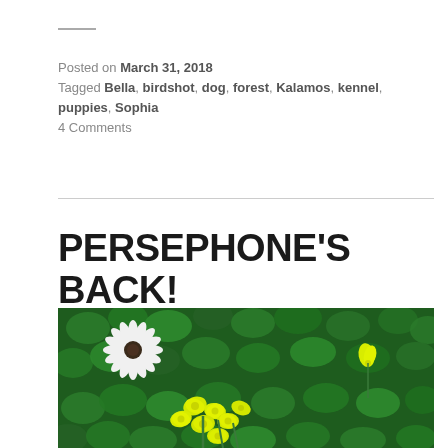Posted on March 31, 2018
Tagged Bella, birdshot, dog, forest, Kalamos, kennel, puppies, Sophia
4 Comments
PERSEPHONE'S BACK!
[Figure (photo): Close-up photograph of green foliage with yellow flowers (oxalis) in the foreground center and a white daisy-like flower (osteospermum) in the upper left, suggesting spring has arrived.]